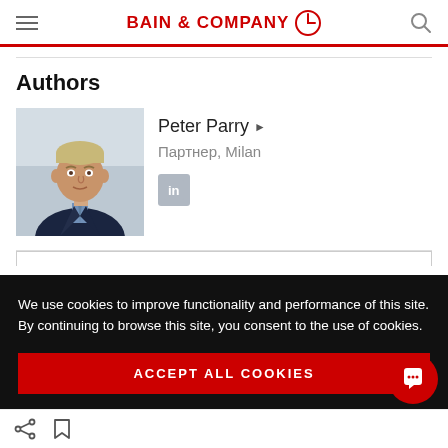BAIN & COMPANY
Authors
[Figure (photo): Headshot photo of Peter Parry, a middle-aged man in a dark suit and tie]
Peter Parry ▶
Партнер, Milan
We use cookies to improve functionality and performance of this site. By continuing to browse this site, you consent to the use of cookies.
ACCEPT ALL COOKIES